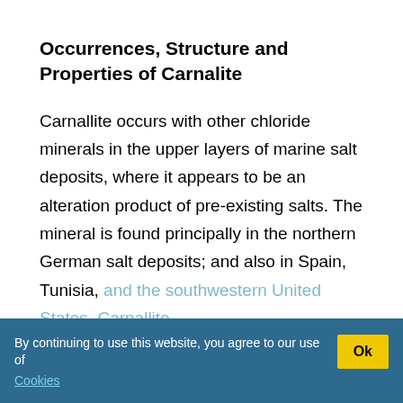Occurrences, Structure and Properties of Carnalite
Carnallite occurs with other chloride minerals in the upper layers of marine salt deposits, where it appears to be an alteration product of pre-existing salts. The mineral is found principally in the northern German salt deposits; and also in Spain, Tunisia, and the southwestern United States. Carnallite is a mineral evaporite. Evaporites are concentrated by evaporation of seawater. The inflow of water must be below the evaporation or use levels. This creates a prolonged evaporation period. In controlled environment